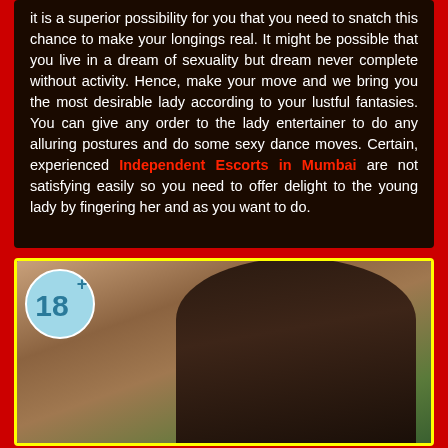it is a superior possibility for you that you need to snatch this chance to make your longings real. It might be possible that you live in a dream of sexuality but dream never complete without activity. Hence, make your move and we bring you the most desirable lady according to your lustful fantasies. You can give any order to the lady entertainer to do any alluring postures and do some sexy dance moves. Certain, experienced Independent Escorts in Mumbai are not satisfying easily so you need to offer delight to the young lady by fingering her and as you want to do.
[Figure (photo): A young woman with long dark brown hair, smiling, shown from the shoulders up, with a blurred outdoor background. An 18+ age restriction badge is shown in the upper left corner of the image.]